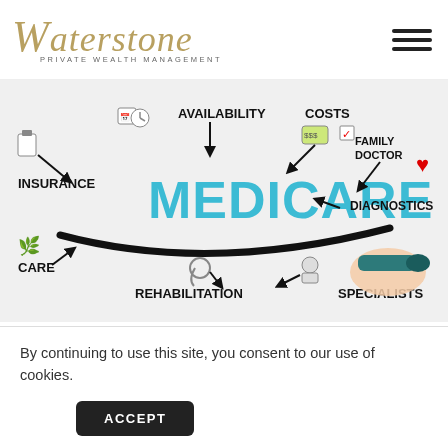Waterstone PRIVATE WEALTH MANAGEMENT
[Figure (illustration): Medicare concept illustration showing a hand drawing with marker, with labels: AVAILABILITY, COSTS, FAMILY DOCTOR, DIAGNOSTICS, SPECIALISTS, REHABILITATION, CARE, INSURANCE in a mind-map style around large MEDICARE text in blue]
By continuing to use this site, you consent to our use of cookies.
ACCEPT